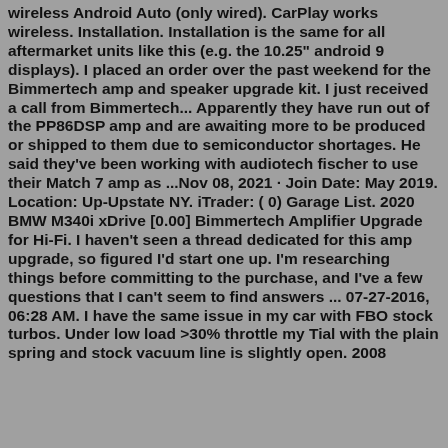wireless Android Auto (only wired). CarPlay works wireless. Installation. Installation is the same for all aftermarket units like this (e.g. the 10.25" android 9 displays). I placed an order over the past weekend for the Bimmertech amp and speaker upgrade kit. I just received a call from Bimmertech... Apparently they have run out of the PP86DSP amp and are awaiting more to be produced or shipped to them due to semiconductor shortages. He said they've been working with audiotech fischer to use their Match 7 amp as ...Nov 08, 2021 · Join Date: May 2019. Location: Up-Upstate NY. iTrader: ( 0) Garage List. 2020 BMW M340i xDrive [0.00] Bimmertech Amplifier Upgrade for Hi-Fi. I haven't seen a thread dedicated for this amp upgrade, so figured I'd start one up. I'm researching things before committing to the purchase, and I've a few questions that I can't seem to find answers ... 07-27-2016, 06:28 AM. I have the same issue in my car with FBO stock turbos. Under low load >30% throttle my Tial with the plain spring and stock vacuum line is slightly open. 2008